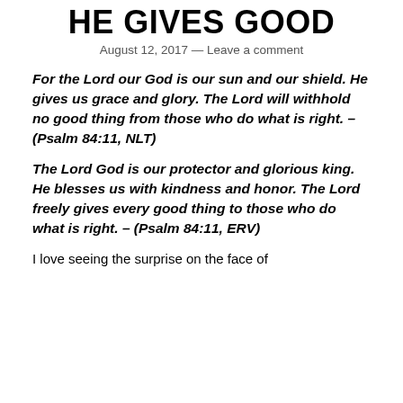HE GIVES GOOD
August 12, 2017 — Leave a comment
For the Lord our God is our sun and our shield. He gives us grace and glory. The Lord will withhold no good thing from those who do what is right. – (Psalm 84:11, NLT)
The Lord God is our protector and glorious king. He blesses us with kindness and honor. The Lord freely gives every good thing to those who do what is right. – (Psalm 84:11, ERV)
I love seeing the surprise on the face of